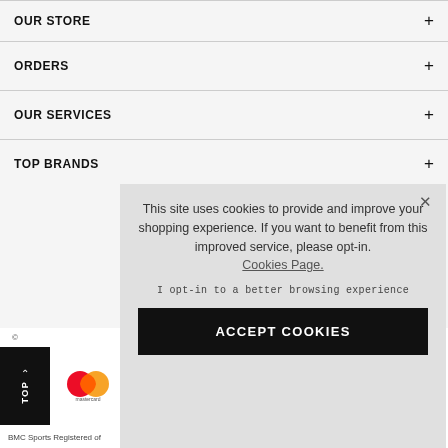OUR STORE
ORDERS
OUR SERVICES
TOP BRANDS
This site uses cookies to provide and improve your shopping experience. If you want to benefit from this improved service, please opt-in. Cookies Page.
I opt-in to a better browsing experience
ACCEPT COOKIES
BMC Sports Registered of
^ TOP